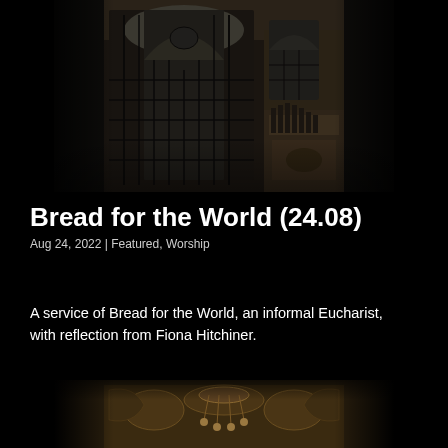[Figure (photo): Interior of a church or historic building showing tall leaded glass windows, an ornate carved mantelpiece or altar piece on the right, and decorative ceiling details. The image is dark/moody in tone.]
Bread for the World (24.08)
Aug 24, 2022 | Featured, Worship
A service of Bread for the World, an informal Eucharist, with reflection from Fiona Hitchiner.
[Figure (photo): Bottom portion of a church interior image showing ornate golden decorative elements and a chandelier, dark and warm-toned.]